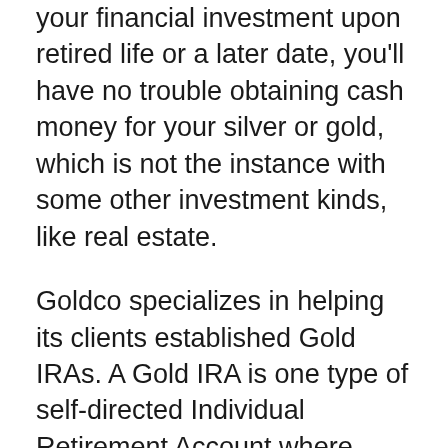your financial investment upon retired life or a later date, you'll have no trouble obtaining cash money for your silver or gold, which is not the instance with some other investment kinds, like real estate.
Goldco specializes in helping its clients established Gold IRAs. A Gold IRA is one type of self-directed Individual Retirement Account where people are allowed to hold gold, as opposed to stocks or bonds, in their Individual Retirement Account. Establishing a self-directed IRA with Goldco is simple.
See their site, and also take a few minutes to fill in an application to open up a new Individual Retirement Account. You'll then choose just how you prepare to money your